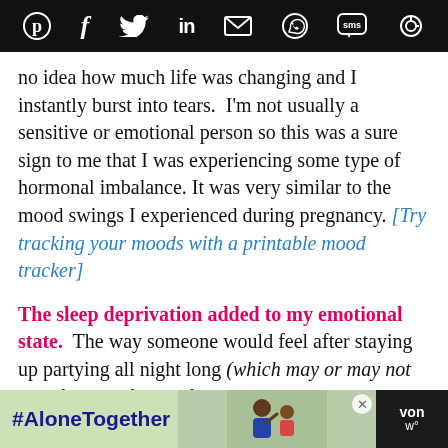Social share icons: Pinterest, Facebook, Twitter, LinkedIn, Email, WhatsApp, SMS, Copy link
no idea how much life was changing and I instantly burst into tears.  I'm not usually a sensitive or emotional person so this was a sure sign to me that I was experiencing some type of hormonal imbalance. It was very similar to the mood swings I experienced during pregnancy. [Try tracking your moods with a printable mood tracker]
The sleep deprivation added to my emotional state.
The way someone would feel after staying up partying all night long (which may or may not be a familiar feeling for me *wink
[Figure (photo): Advertisement banner: #AloneTogether with photo of a man and child waving, and a logo on the right]